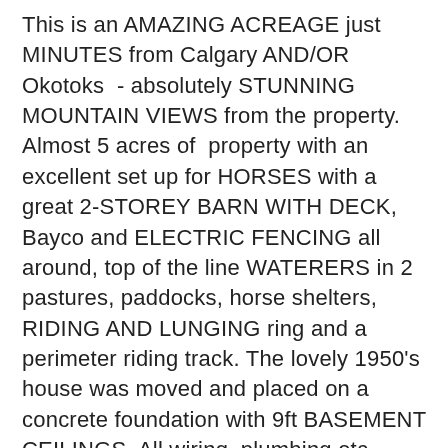This is an AMAZING ACREAGE just MINUTES from Calgary AND/OR Okotoks  - absolutely STUNNING MOUNTAIN VIEWS from the property. Almost 5 acres of  property with an excellent set up for HORSES with a great 2-STOREY BARN WITH DECK, Bayco and ELECTRIC FENCING all around, top of the line WATERERS in 2 pastures, paddocks, horse shelters, RIDING AND LUNGING ring and a perimeter riding track. The lovely 1950's house was moved and placed on a concrete foundation with 9ft BASEMENT CEILINGS. All wiring, plumbing etc. redone, hardwood floors were refinished, all NEWER windows (4-5 years), newer ROOF (5-6 years) - all the big ticket items done and you are left with a CHARACTER BUNGALOW with original door handles and outlet covers, etc. Enter the home through a spacious foyer - OAK HARDWOOD floors flowing into the spacious living room. The dining room just off the kitchen will fit a family sized table! The kitchen has space for a small dinette or makes a great